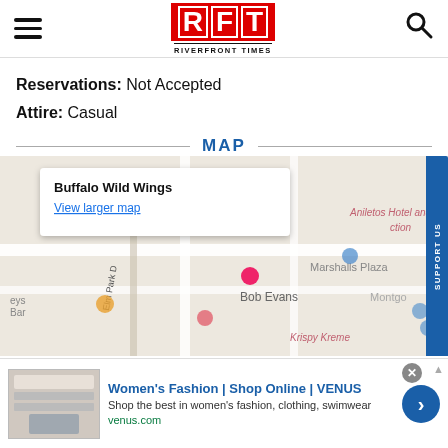RFT RIVERFRONT TIMES
Reservations: Not Accepted
Attire: Casual
MAP
[Figure (map): Google Maps embed showing Buffalo Wild Wings location, with surrounding streets, Bob Evans, Marshalls Plaza, Krispy Kreme, Montgomery markers visible. Map popup shows 'Buffalo Wild Wings' with 'View larger map' link.]
Women's Fashion | Shop Online | VENUS
Shop the best in women's fashion, clothing, swimwear
venus.com